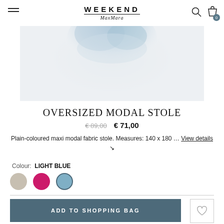WEEKEND MaxMara
[Figure (photo): Light blue oversized modal stole fabric draped against a light grey background]
OVERSIZED MODAL STOLE
€ 89,00  € 71,00
Plain-coloured maxi modal fabric stole. Measures: 140 x 180 ... View details ↘
Colour: LIGHT BLUE
ADD TO SHOPPING BAG